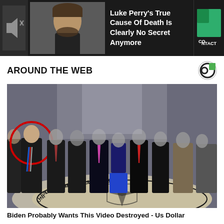[Figure (screenshot): Ad banner with dark background showing a man's photo and text: Luke Perry's True Cause Of Death Is Clearly No Secret Anymore, with CONTACT label on right]
AROUND THE WEB
[Figure (photo): Group of people in formal attire standing in the CIA headquarters lobby on the CIA seal floor emblem. One person on the left is circled in red. Other faces are blurred.]
Biden Probably Wants This Video Destroyed - Us Dollar